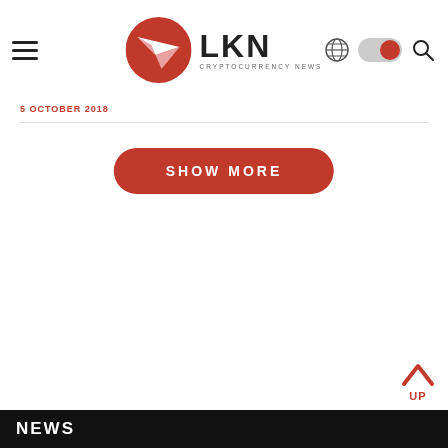[Figure (logo): LKN Cryptocurrency News logo with red circle containing white paper plane, bold LKN text, and small CRYPTOCURRENCY NEWS subtitle]
5 OCTOBER 2018
[Figure (other): SHOW MORE button - red rounded rectangle with white uppercase text]
[Figure (other): UP arrow button in red with UP label below]
NEWS